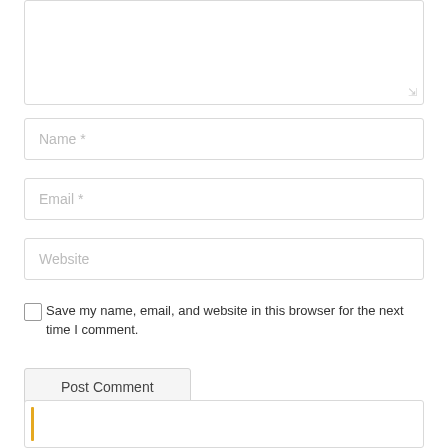[Figure (screenshot): A web comment form showing a textarea (partially visible, cut off at top), followed by Name, Email, and Website input fields, a Save my name checkbox, a Post Comment button, and a partially visible box at the bottom with a gold/yellow left border accent.]
Name *
Email *
Website
Save my name, email, and website in this browser for the next time I comment.
Post Comment